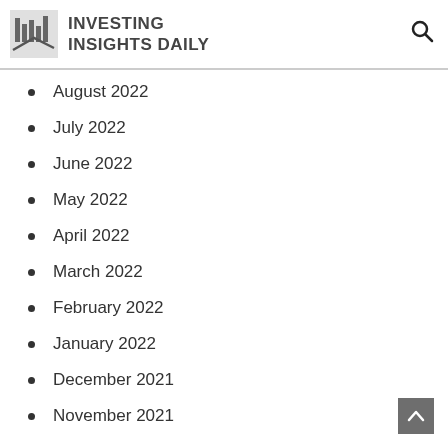INVESTING INSIGHTS DAILY
August 2022
July 2022
June 2022
May 2022
April 2022
March 2022
February 2022
January 2022
December 2021
November 2021